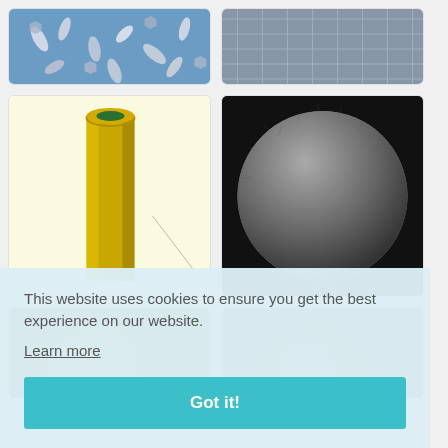[Figure (photo): 3D render of assorted bolts and fasteners on blue background]
[Figure (photo): 3D render of grid/mesh surface on blue-grey background]
[Figure (photo): 3D CAD model of a yellow hollow tube/pipe on light yellow background]
[Figure (photo): 3D render of a fuzzy grey sphere/ball on black background]
[Figure (photo): Partially visible textured sphere at bottom left]
[Figure (photo): Partially visible textured sphere at bottom right]
This website uses cookies to ensure you get the best experience on our website.
Learn more
Got it!